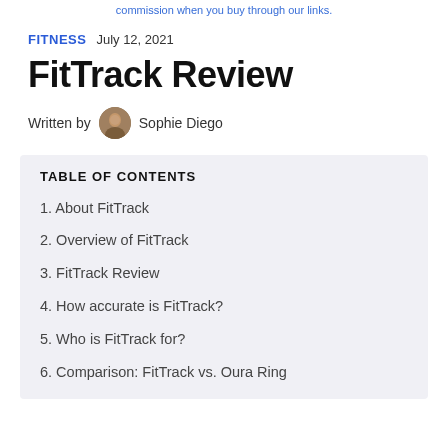commission when you buy through our links.
FITNESS   July 12, 2021
FitTrack Review
Written by  Sophie Diego
TABLE OF CONTENTS
1. About FitTrack
2. Overview of FitTrack
3. FitTrack Review
4. How accurate is FitTrack?
5. Who is FitTrack for?
6. Comparison: FitTrack vs. Oura Ring